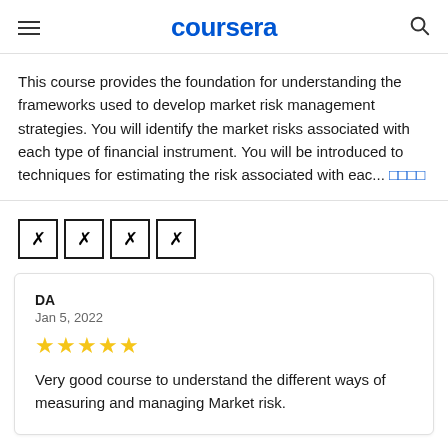coursera
This course provides the foundation for understanding the frameworks used to develop market risk management strategies. You will identify the market risks associated with each type of financial instrument. You will be introduced to techniques for estimating the risk associated with eac...
[rating boxes]
DA
Jan 5, 2022
★★★★★
Very good course to understand the different ways of measuring and managing Market risk.